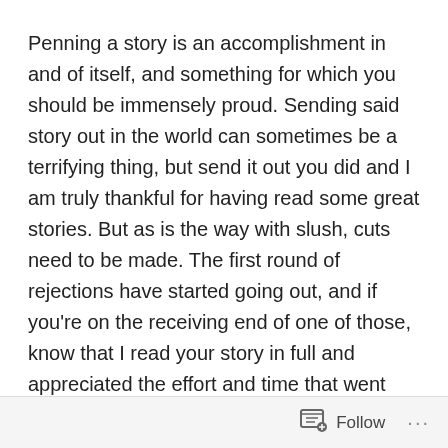Penning a story is an accomplishment in and of itself, and something for which you should be immensely proud. Sending said story out in the world can sometimes be a terrifying thing, but send it out you did and I am truly thankful for having read some great stories. But as is the way with slush, cuts need to be made. The first round of rejections have started going out, and if you're on the receiving end of one of those, know that I read your story in full and appreciated the effort and time that went into sending us your work. Thank you. Thank you for showcasing the talents of the authors in this writing community. Keep up the amazing work!
Which brings me to the next round of the slush process:
longlist
Follow ...